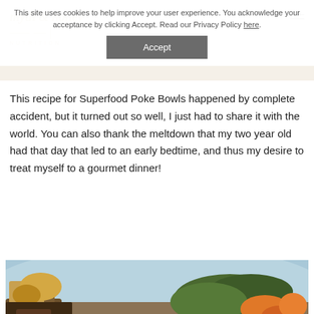Myth & Honey Nutrition
This site uses cookies to help improve your user experience. You acknowledge your acceptance by clicking Accept. Read our Privacy Policy here.
Accept
This recipe for Superfood Poke Bowls happened by complete accident, but it turned out so well, I just had to share it with the world. You can also thank the meltdown that my two year old had that day that led to an early bedtime, and thus my desire to treat myself to a gourmet dinner!
[Figure (photo): Close-up photo of a Superfood Poke Bowl with bright pink/red tuna pieces topped with black and white sesame seeds, surrounded by colorful vegetables including what appears to be roasted root vegetables and leafy greens in a bowl.]